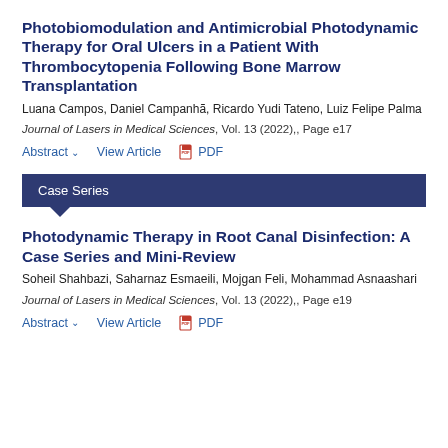Photobiomodulation and Antimicrobial Photodynamic Therapy for Oral Ulcers in a Patient With Thrombocytopenia Following Bone Marrow Transplantation
Luana Campos, Daniel Campanhã, Ricardo Yudi Tateno, Luiz Felipe Palma
Journal of Lasers in Medical Sciences, Vol. 13 (2022),, Page e17
Abstract ▼   View Article   🗎 PDF
Case Series
Photodynamic Therapy in Root Canal Disinfection: A Case Series and Mini-Review
Soheil Shahbazi, Saharnaz Esmaeili, Mojgan Feli, Mohammad Asnaashari
Journal of Lasers in Medical Sciences, Vol. 13 (2022),, Page e19
Abstract ▼   View Article   🗎 PDF